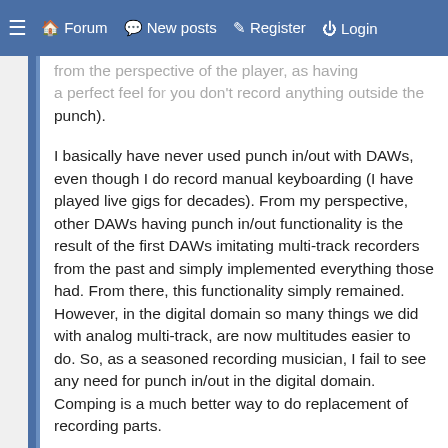≡  Forum  💬 New posts  ✎ Register  ⏻ Login
from the perspective of the player, as having a perfect feel for you don't record anything outside the punch).
I basically have never used punch in/out with DAWs, even though I do record manual keyboarding (I have played live gigs for decades). From my perspective, other DAWs having punch in/out functionality is the result of the first DAWs imitating multi-track recorders from the past and simply implemented everything those had. From there, this functionality simply remained. However, in the digital domain so many things we did with analog multi-track, are now multitudes easier to do. So, as a seasoned recording musician, I fail to see any need for punch in/out in the digital domain. Comping is a much better way to do replacement of recording parts.
It is kind of refreshing to me that Reason